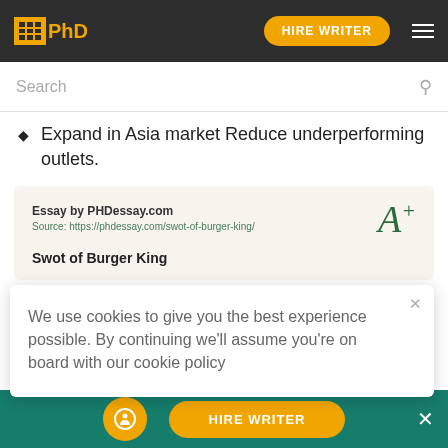IPhD | HIRE WRITER
Search
Expand in Asia market Reduce underperforming outlets.
[Figure (screenshot): Essay card from PHDessay.com showing 'Swot of Burger King' with A+ grade icon]
We use cookies to give you the best experience possible. By continuing we'll assume you're on board with our cookie policy
Though the company operates in 65 countries, its operations are heavily concentrated in the US and Canada.
HIRE WRITER